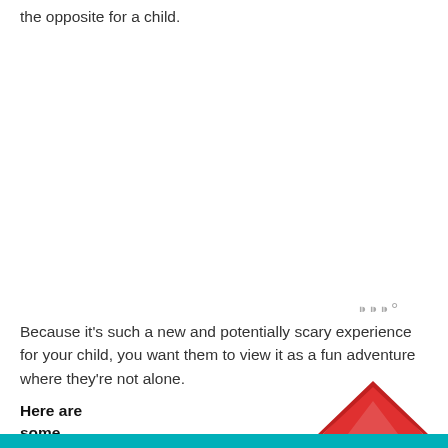the opposite for a child.
[Figure (other): Small watermark or logo mark consisting of grey stylized letters/icons]
Because it's such a new and potentially scary experience for your child, you want them to view it as a fun adventure where they're not alone.
Here are some
[Figure (illustration): Partial illustration of a red house roof visible at the bottom right corner of the page]